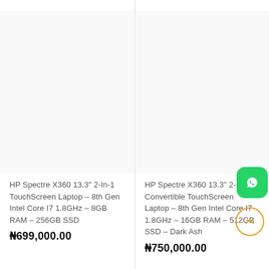[Figure (screenshot): Product listing page showing two HP Spectre X360 laptops with navigation arrows and product details]
HP Spectre X360 13.3" 2-In-1 TouchScreen Laptop – 8th Gen Intel Core I7 1.8GHz – 8GB RAM – 256GB SSD
₦699,000.00
HP Spectre X360 13.3" 2-In-1 Convertible TouchScreen Laptop – 8th Gen Intel Core I7 1.8GHz – 16GB RAM – 512GB SSD – Dark Ash
₦750,000.00